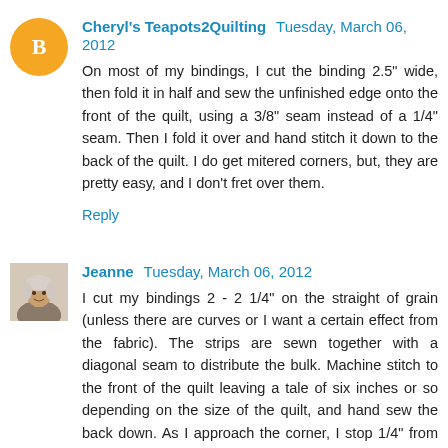Cheryl's Teapots2Quilting  Tuesday, March 06, 2012
On most of my bindings, I cut the binding 2.5" wide, then fold it in half and sew the unfinished edge onto the front of the quilt, using a 3/8" seam instead of a 1/4" seam. Then I fold it over and hand stitch it down to the back of the quilt. I do get mitered corners, but, they are pretty easy, and I don't fret over them.
Reply
Jeanne  Tuesday, March 06, 2012
I cut my bindings 2 - 2 1/4" on the straight of grain (unless there are curves or I want a certain effect from the fabric). The strips are sewn together with a diagonal seam to distribute the bulk. Machine stitch to the front of the quilt leaving a tale of six inches or so depending on the size of the quilt, and hand sew the back down. As I approach the corner, I stop 1/4" from the end and take the quilt out from under the needle. Fold the remaining binding straight up, then back down even with the edge of the quilt. Continue